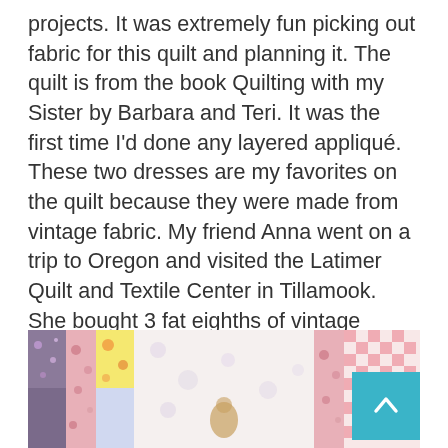projects. It was extremely fun picking out fabric for this quilt and planning it. The quilt is from the book Quilting with my Sister by Barbara and Teri. It was the first time I'd done any layered appliqué. These two dresses are my favorites on the quilt because they were made from vintage fabric. My friend Anna went on a trip to Oregon and visited the Latimer Quilt and Textile Center in Tillamook. She bought 3 fat eighths of vintage fabric for me at the gift shop. I love all 3 of them. I still have one that I am hoarding and keeping safe for the perfect project. I haven't been to Tillamook yet but its on the list of places I want to visit.
[Figure (photo): A quilt with various colorful patchwork fabrics including floral prints, gingham, and a light blue/white center panel with what appears to be a small appliqué figure.]